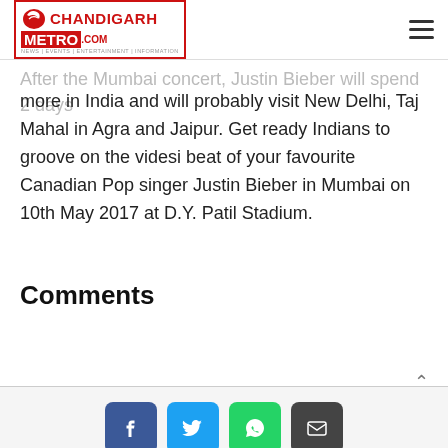Chandigarh Metro - News | Events | Entertainment | Information
After the Mumbai concert, Justin Bieber will spend 2 days more in India and will probably visit New Delhi, Taj Mahal in Agra and Jaipur. Get ready Indians to groove on the videsi beat of your favourite Canadian Pop singer Justin Bieber in Mumbai on 10th May 2017 at D.Y. Patil Stadium.
Comments
[Figure (infographic): Social share buttons: Facebook (blue), Twitter (light blue), WhatsApp (green), Email (dark grey)]